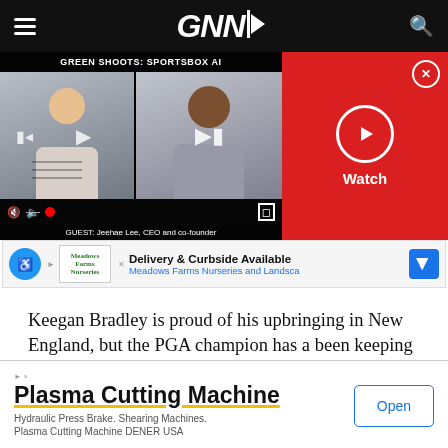GNN (Golf News Network) navigation bar with hamburger menu and search icon
[Figure (screenshot): Video player showing 'GREEN SHOOTS: SPORTSBOX AI' with two guests on screen. Guest: Jeehae Lee, CEO and co-founder. Play controls visible. Red panel on right with Watch button and close X.]
[Figure (screenshot): Advertisement banner: Delivery & Curbside Available - Meadows Farms Nurseries and Landscape]
Keegan Bradley is proud of his upbringing in New England, but the PGA champion has a been keeping a
[Figure (screenshot): Bottom advertisement: Plasma Cutting Machine - Hydraulic Press Brake. Shearing Machines. Plasma Cutting Machine DENER USA. With Open button.]